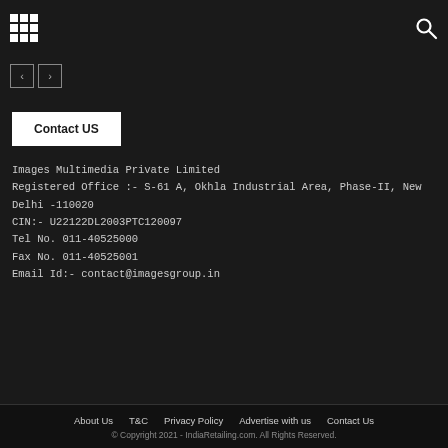Navigation bar with grid icon and search icon
[Figure (other): Navigation arrows (previous/next) buttons]
Contact US
Images Multimedia Private Limited
Registered Office :- S-61 A, Okhla Industrial Area, Phase-II, New Delhi -110020
CIN:- U22122DL2003PTC120097
Tel No. 011-40525000
Fax No. 011-40525001
Email Id:- contact@imagesgroup.in
About Us   T&C   Privacy Policy   Advertise with us   Contact Us
© Copyright 2021 - IndiaRetailing.com. All Rights Reserved.